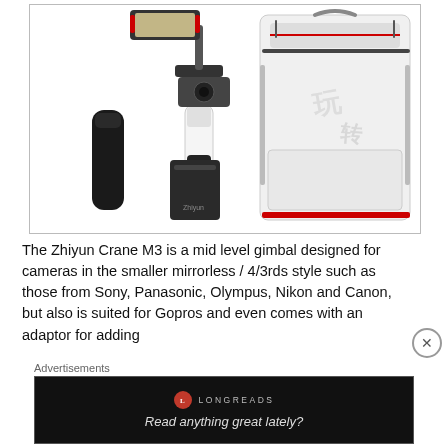[Figure (photo): Product photo of Zhiyun Crane M3 gimbal stabilizer with accessories (battery grip, fill light, case) on white background, alongside a white camera backpack]
The Zhiyun Crane M3 is a mid level gimbal designed for cameras in the smaller mirrorless / 4/3rds style such as those from Sony, Panasonic, Olympus, Nikon and Canon, but also is suited for Gopros and even comes with an adaptor for adding
Advertisements
[Figure (screenshot): Advertisement banner for Longreads on black background reading 'Read anything great lately?']